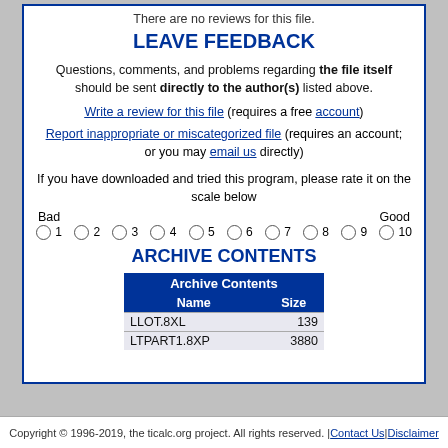There are no reviews for this file.
LEAVE FEEDBACK
Questions, comments, and problems regarding the file itself should be sent directly to the author(s) listed above.
Write a review for this file (requires a free account)
Report inappropriate or miscategorized file (requires an account; or you may email us directly)
If you have downloaded and tried this program, please rate it on the scale below
Bad   Good   1 2 3 4 5 6 7 8 9 10
ARCHIVE CONTENTS
| Archive Contents |  |
| --- | --- |
| Name | Size |
| LLOT.8XL | 139 |
| LTPART1.8XP | 3880 |
Copyright © 1996-2019, the ticalc.org project. All rights reserved. | Contact Us | Disclaimer